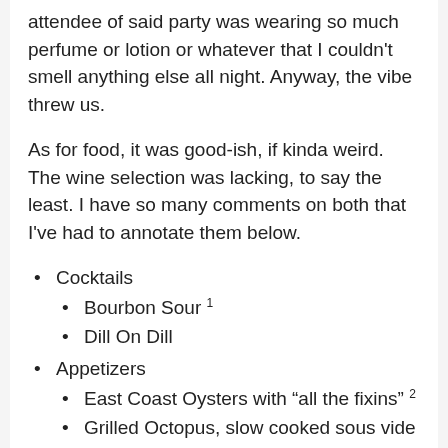attendee of said party was wearing so much perfume or lotion or whatever that I couldn't smell anything else all night. Anyway, the vibe threw us.
As for food, it was good-ish, if kinda weird. The wine selection was lacking, to say the least. I have so many comments on both that I've had to annotate them below.
Cocktails
Bourbon Sour 1
Dill On Dill
Appetizers
East Coast Oysters with “all the fixins” 2
Grilled Octopus, slow cooked sous vide and grilled w/ parsley, garlic, chili, olive oil, and lemon 3
Sauvignon Blanc (Te Henga, NZ)